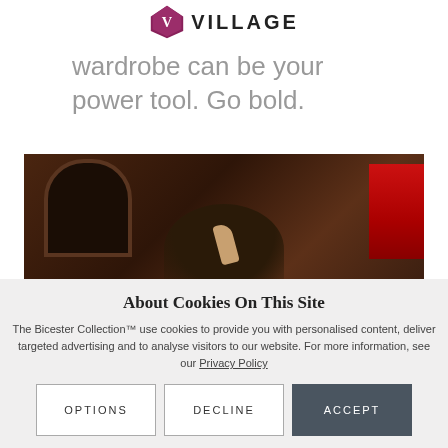[Figure (logo): Bicester Village logo: purple heart/diamond shape with a V, followed by the word VILLAGE in bold uppercase letters]
wardrobe can be your power tool. Go bold.
[Figure (photo): Interior photo of a shopping village at night, showing a stone archway entrance with warm amber lighting, a red banner/sign on the right, and the back of a person's head with dark hair in the foreground raising their hand]
About Cookies On This Site
The Bicester Collection™ use cookies to provide you with personalised content, deliver targeted advertising and to analyse visitors to our website. For more information, see our Privacy Policy
OPTIONS
DECLINE
ACCEPT